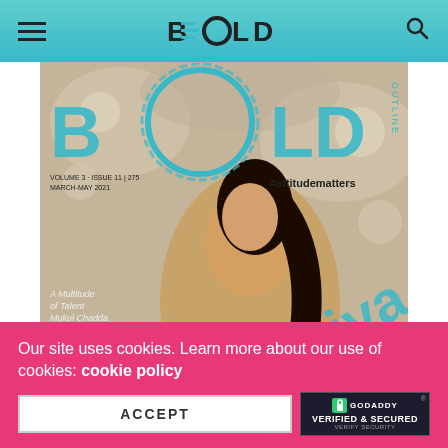BOLD (logo/navigation bar with hamburger menu and search icon)
[Figure (photo): Magazine cover of BOLD magazine showing a woman in a golden dress reclining against a floral background. Cover text includes: SUSTAINABLE & ORGANIC LIFESTYLE, #attitudematters, VOLUME 3 - ISSUE 11 | 275 MARCH-MAY 2021, Diva, A Multitude of Talent Mukul Chadda., Actor in Singer's Bodice Armaan Khera, Wellness for Every Body]
Our site uses cookies. Learn more about our use of cookies: cookie policy
ACCEPT
[Figure (logo): GoDaddy Verified & Secured badge]